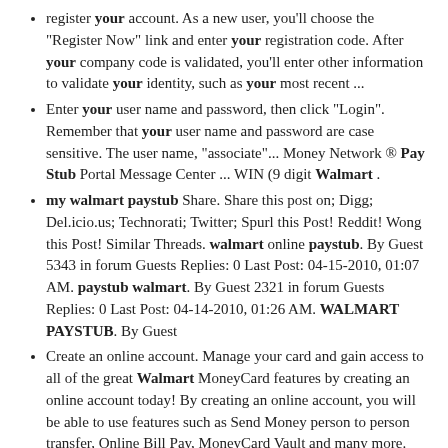register your account. As a new user, you'll choose the "Register Now" link and enter your registration code. After your company code is validated, you'll enter other information to validate your identity, such as your most recent ...
Enter your user name and password, then click "Login". Remember that your user name and password are case sensitive. The user name, "associate"... Money Network ® Pay Stub Portal Message Center ... WIN (9 digit Walmart .
my walmart paystub Share. Share this post on; Digg; Del.icio.us; Technorati; Twitter; Spurl this Post! Reddit! Wong this Post! Similar Threads. walmart online paystub. By Guest 5343 in forum Guests Replies: 0 Last Post: 04-15-2010, 01:07 AM. paystub walmart. By Guest 2321 in forum Guests Replies: 0 Last Post: 04-14-2010, 01:26 AM. WALMART PAYSTUB. By Guest
Create an online account. Manage your card and gain access to all of the great Walmart MoneyCard features by creating an online account today! By creating an online account, you will be able to use features such as Send Money person to person transfer, Online Bill Pay, MoneyCard Vault and many more. Get Started by clicking "Create Online ...
Welcome to Paperless Pay. This site provides secure access to view your payroll information and manage your account.